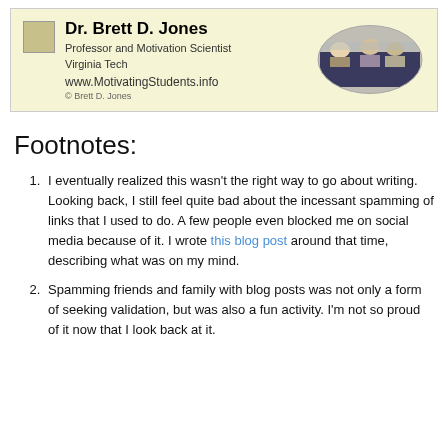[Figure (photo): Header banner with light yellow background. Left side shows a beige/tan square icon, then bold text 'Dr. Brett D. Jones', subtitle 'Professor and Motivation Scientist', 'Virginia Tech', 'www.MotivatingStudents.info', '© Brett D. Jones'. Right side shows an oval photo of people in a classroom setting.]
Footnotes:
I eventually realized this wasn't the right way to go about writing. Looking back, I still feel quite bad about the incessant spamming of links that I used to do. A few people even blocked me on social media because of it. I wrote this blog post around that time, describing what was on my mind.
Spamming friends and family with blog posts was not only a form of seeking validation, but was also a fun activity. I'm not so proud of it now that I look back at it.